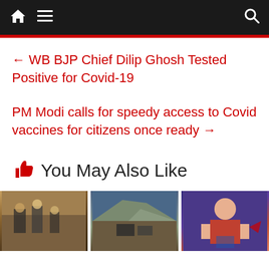Navigation bar with home, menu, and search icons
← WB BJP Chief Dilip Ghosh Tested Positive for Covid-19
PM Modi calls for speedy access to Covid vaccines for citizens once ready →
👍 You May Also Like
[Figure (photo): Three photos in a row: 1) Officials at a ceremony, 2) Military vehicles on a mountain road, 3) A man in a red jacket speaking]